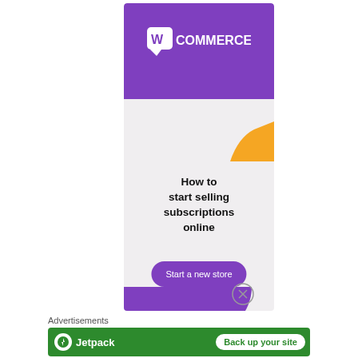[Figure (screenshot): WooCommerce advertisement banner with purple header containing WooCommerce logo, orange decorative shape, bold text 'How to start selling subscriptions online', and a purple 'Start a new store' button]
[Figure (screenshot): Close/dismiss button circle with X icon]
Advertisements
[Figure (screenshot): Jetpack advertisement banner on green background with Jetpack logo on left and 'Back up your site' white button on right]